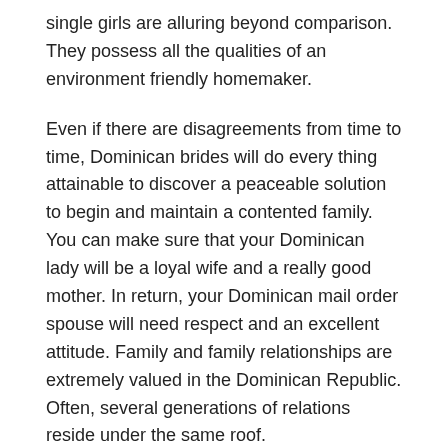single girls are alluring beyond comparison. They possess all the qualities of an environment friendly homemaker.
Even if there are disagreements from time to time, Dominican brides will do every thing attainable to discover a peaceable solution to begin and maintain a contented family. You can make sure that your Dominican lady will be a loyal wife and a really good mother. In return, your Dominican mail order spouse will need respect and an excellent attitude. Family and family relationships are extremely valued in the Dominican Republic. Often, several generations of relations reside under the same roof.
Secondly, they Dominican brides make an exquisite firm and are cool to spend the life with. Thirdly, it is a nice determination to marry a Dominican as this girl can add some adventure to your life. Local ladies entice many males who go to this country on vacation. The best places to satisfy Dominican women are the